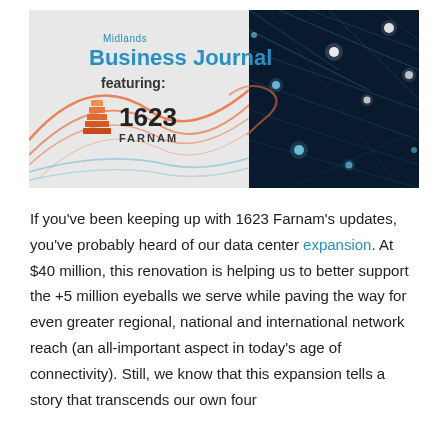[Figure (illustration): Midlands Business Journal banner featuring 1623 Farnam logo. Left half is light gray with orange/blue wave design and the text 'Midlands Business Journal featuring:' above the 1623 Farnam logo (stacked orange building icon with bold text). Right half shows a dark blue tech/network visualization with glowing dots and lines.]
If you've been keeping up with 1623 Farnam's updates, you've probably heard of our data center expansion. At $40 million, this renovation is helping us to better support the +5 million eyeballs we serve while paving the way for even greater regional, national and international network reach (an all-important aspect in today's age of connectivity). Still, we know that this expansion tells a story that transcends our own four